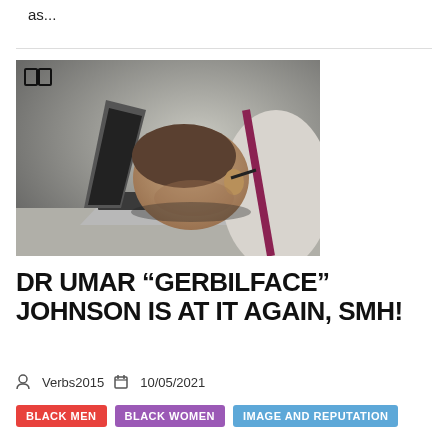as...
[Figure (photo): Man in a white shirt with suspenders resting his head on a laptop keyboard, looking frustrated or exhausted. A book icon overlay appears in the top-left corner.]
DR UMAR “GERBILFACE” JOHNSON IS AT IT AGAIN, SMH!
Verbs2015  10/05/2021
BLACK MEN  BLACK WOMEN  IMAGE AND REPUTATION